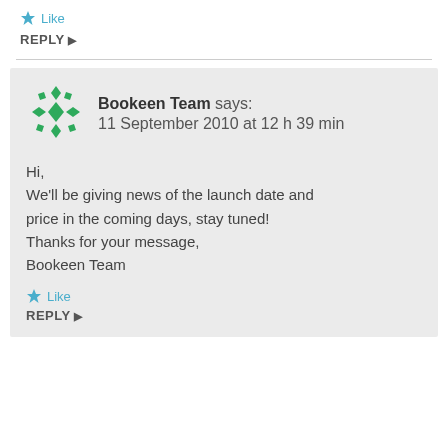★ Like
REPLY ▶
Bookeen Team says:
11 September 2010 at 12 h 39 min
Hi,
We'll be giving news of the launch date and price in the coming days, stay tuned!
Thanks for your message,
Bookeen Team
★ Like
REPLY ▶